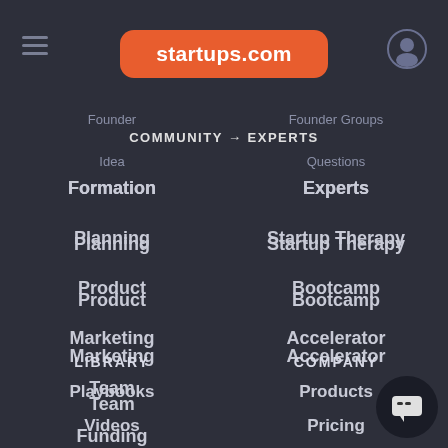startups.com
Founder
Founder Groups
COMMUNITY → EXPERTS
Idea
Questions
Formation
Experts
Planning
Startup Therapy
Product
Bootcamp
Marketing
Accelerator
Team
Funding
Operations
LIBRARY
COMPANY
Playbooks
Products
Videos
Pricing
Founder Stories
About Us